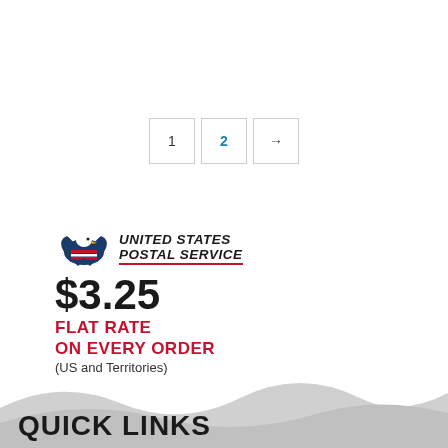1  2  →
[Figure (logo): United States Postal Service logo with eagle emblem and text]
$3.25
FLAT RATE
ON EVERY ORDER
(US and Territories)
QUICK LINKS